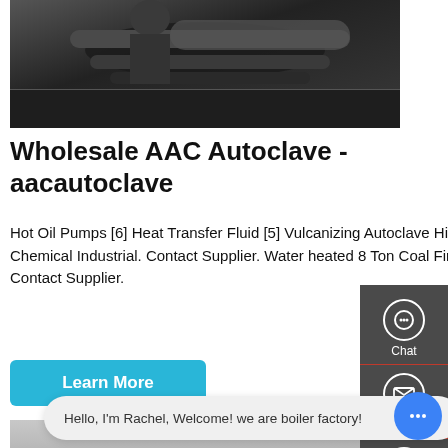[Figure (photo): Industrial machinery/boiler top view, dark metallic equipment]
Wholesale AAC Autoclave - aacautoclave
Hot Oil Pumps [6] Heat Transfer Fluid [5] Vulcanizing Autoclave High Efficiency Wood Coal Fired Steam Boiler 10 Ton For Chemical Industrial. Contact Supplier. Water heated 8 Ton Coal Fired Steam Boiler Of High Pressure 1.25Mpa - 2.45Mpa. Contact Supplier.
[Figure (screenshot): Industrial boiler room with yellow and red pipes, large cylindrical boilers]
[Figure (photo): WhatsApp icon green rounded square]
Contact us now!
Hello, I'm Rachel, Welcome! we are boiler factory!